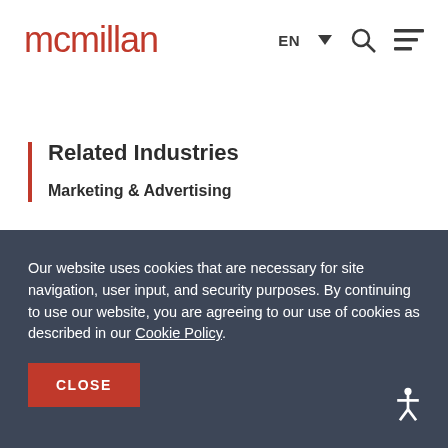mcmillan EN
Related Industries
Marketing & Advertising
Our website uses cookies that are necessary for site navigation, user input, and security purposes. By continuing to use our website, you are agreeing to our use of cookies as described in our Cookie Policy.
CLOSE